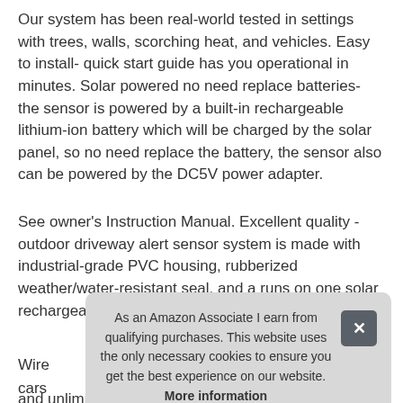Our system has been real-world tested in settings with trees, walls, scorching heat, and vehicles. Easy to install- quick start guide has you operational in minutes. Solar powered no need replace batteries- the sensor is powered by a built-in rechargeable lithium-ion battery which will be charged by the solar panel, so no need replace the battery, the sensor also can be powered by the DC5V power adapter.
See owner's Instruction Manual. Excellent quality - outdoor driveway alert sensor system is made with industrial-grade PVC housing, rubberized weather/water-resistant seal, and a runs on one solar rechargeable.
Wire... cars... clai...
and unlimited receivers for complete coverage of your
As an Amazon Associate I earn from qualifying purchases. This website uses the only necessary cookies to ensure you get the best experience on our website. More information